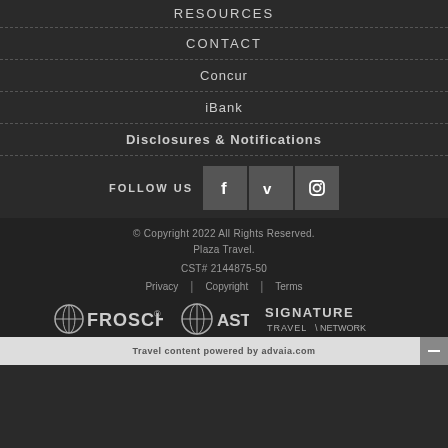RESOURCES
CONTACT
Concur
iBank
Disclosures & Notifications
[Figure (infographic): FOLLOW US label with three social media icons: Facebook (f), Vimeo (v), and Instagram (camera icon), displayed as grey squares with white icons]
© Copyright 2022  All Rights Reserved.
Plaza Travel.
CST# 2144875-50
Privacy  |  Copyright  |  Terms
[Figure (logo): Three logos: FROSCH with globe icon, ASTA with globe icon, and SIGNATURE TRAVEL NETWORK]
Travel content powered by advaia.com